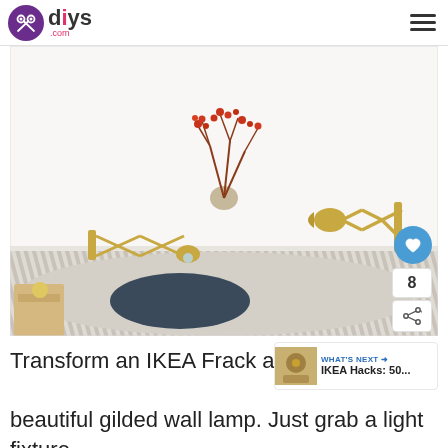diys.com
[Figure (photo): Bedroom wall with two gold/brass IKEA Frack accordion wall lamps mounted on either side above a bed with striped bedding and a dark pillow. A vase with red-orange branches hangs on the wall above.]
Transform an IKEA Frack accordion mirror into a beautiful gilded wall lamp. Just grab a light fixture